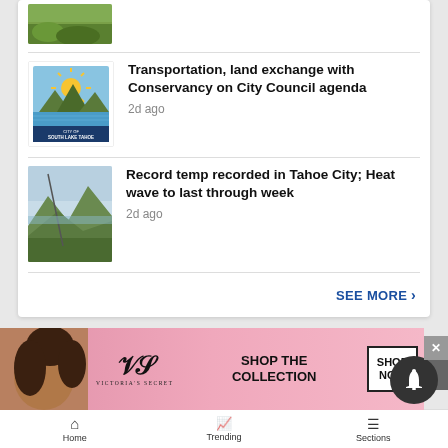[Figure (photo): Partial thumbnail of nature/landscape image at top]
[Figure (logo): City of South Lake Tahoe logo — sun rising over mountains and water]
Transportation, land exchange with Conservancy on City Council agenda
2d ago
[Figure (photo): Mountain/aerial landscape photo near Tahoe City]
Record temp recorded in Tahoe City; Heat wave to last through week
2d ago
SEE MORE ›
[Figure (photo): Victoria's Secret advertisement banner — woman model, VS logo, SHOP THE COLLECTION, SHOP NOW button]
Home   Trending   Sections